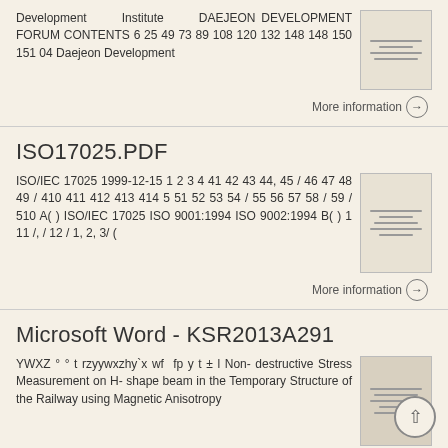Development Institute DAEJEON DEVELOPMENT FORUM CONTENTS 6 25 49 73 89 108 120 132 148 148 150 151 04 Daejeon Development
More information →
ISO17025.PDF
ISO/IEC 17025 1999-12-15 1 2 3 4 41 42 43 44, 45 / 46 47 48 49 / 410 411 412 413 414 5 51 52 53 54 / 55 56 57 58 / 59 / 510 A( ) ISO/IEC 17025 ISO 9001:1994 ISO 9002:1994 B( ) 1 11 /, / 12 / 1, 2, 3/ (
More information →
Microsoft Word - KSR2013A291
YWXZ ° ° t rzyywxzhy`x wf fp y t ± l Non-destructive Stress Measurement on H-shape beam in the Temporary Structure of the Railway using Magnetic Anisotropy